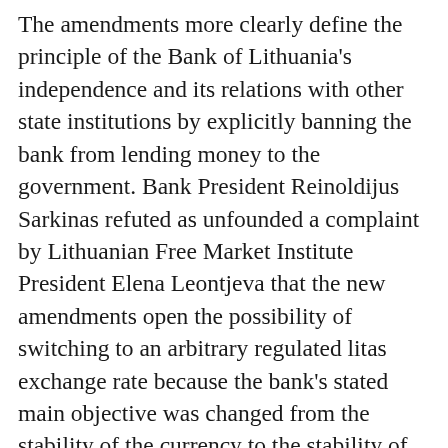The amendments more clearly define the principle of the Bank of Lithuania's independence and its relations with other state institutions by explicitly banning the bank from lending money to the government. Bank President Reinoldijus Sarkinas refuted as unfounded a complaint by Lithuanian Free Market Institute President Elena Leontjeva that the new amendments open the possibility of switching to an arbitrary regulated litas exchange rate because the bank's stated main objective was changed from the stability of the currency to the stability of prices. Sarkinas said the amendments clearly state that the Bank of Lithuania puts money into circulation or withdraws it in accordance with Lithuanian laws, and that the only law regulating this is the Law on the Credibility of the Litas, which has not been changed. SG